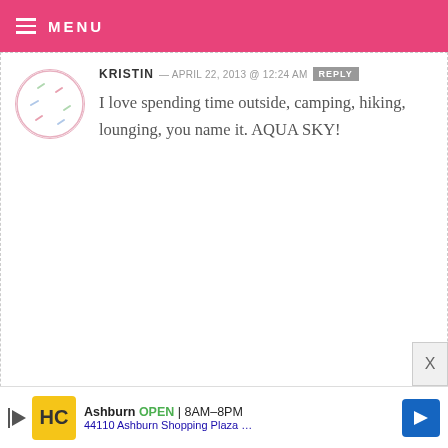MENU
KRISTIN — APRIL 22, 2013 @ 12:24 AM   REPLY
I love spending time outside, camping, hiking, lounging, you name it. AQUA SKY!
BIJOUX — APRIL 22, 2013 @ 12:24 AM   REPLY
My favorite thing to do is clean my kitchen right before baking. I love the feeling of an immaculate kitchen right before making a delightful mess.
Ashburn  OPEN  8AM–8PM  44110 Ashburn Shopping Plaza …